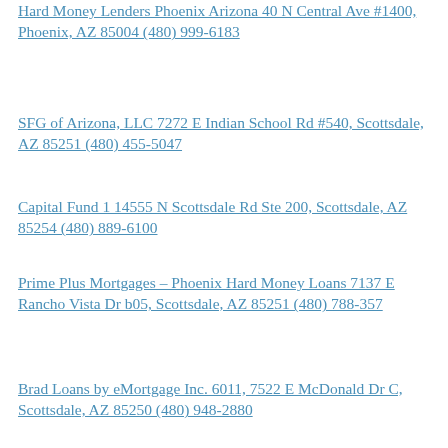Hard Money Lenders Phoenix Arizona 40 N Central Ave #1400, Phoenix, AZ 85004 (480) 999-6183
SFG of Arizona, LLC 7272 E Indian School Rd #540, Scottsdale, AZ 85251 (480) 455-5047
Capital Fund 1 14555 N Scottsdale Rd Ste 200, Scottsdale, AZ 85254 (480) 889-6100
Prime Plus Mortgages – Phoenix Hard Money Loans 7137 E Rancho Vista Dr b05, Scottsdale, AZ 85251 (480) 788-357
Brad Loans by eMortgage Inc. 6011, 7522 E McDonald Dr C, Scottsdale, AZ 85250 (480) 948-2880